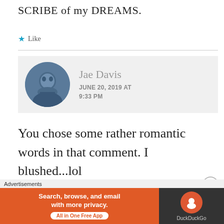SCRIBE of my DREAMS.
★ Like
[Figure (screenshot): Comment block showing avatar photo of Jae Davis, name 'Jae Davis', date 'JUNE 20, 2019 AT 9:33 PM' on a light grey background]
You chose some rather romantic words in that comment. I blushed...lol
[Figure (other): Close/dismiss button (circled X) in bottom right area]
Advertisements
[Figure (screenshot): DuckDuckGo advertisement banner: orange left side reading 'Search, browse, and email with more privacy. All in One Free App', dark right side with DuckDuckGo logo]